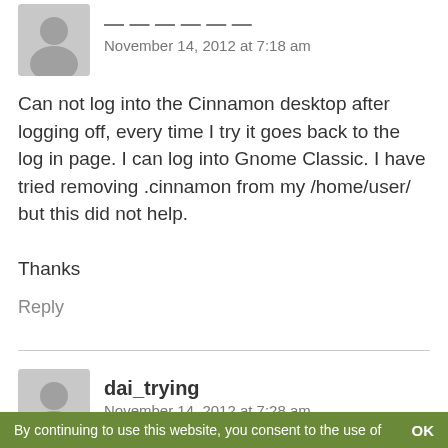[Figure (illustration): User avatar placeholder - grey silhouette icon for first commenter (name partially cut off at top)]
November 14, 2012 at 7:18 am
Can not log into the Cinnamon desktop after logging off, every time I try it goes back to the log in page. I can log into Gnome Classic. I have tried removing .cinnamon from my /home/user/ but this did not help.

Thanks
Reply
[Figure (illustration): User avatar placeholder - grey silhouette icon for dai_trying]
dai_trying
November 14, 2012 at 7:28 am
Hi Clem,
First I would like to say thank you for this latest RC, I have it installed on my laptop (dual boot vista) and on
By continuing to use this website, you consent to the use of    OK